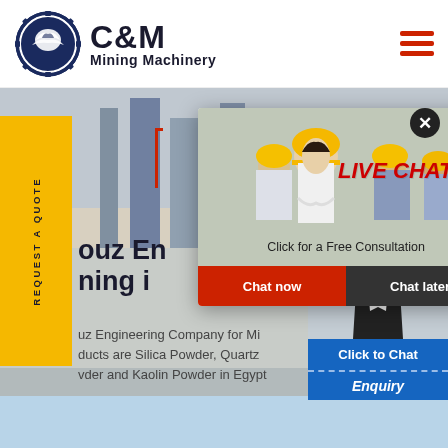[Figure (logo): C&M Mining Machinery logo with eagle/gear emblem in blue circle]
[Figure (screenshot): Website screenshot showing C&M Mining Machinery page with live chat popup, workers in hard hats, side yellow REQUEST A QUOTE bar, text about Farouz Engineering Company for Mining, and right-side chat widget]
LIVE CHAT
Click for a Free Consultation
Chat now | Chat later
REQUEST A QUOTE
ouz Engineering Company for Mining industries are Silica Powder, Quartz Powder and Kaolin Powder in Egypt
Hours
line
Click to Chat
Enquiry